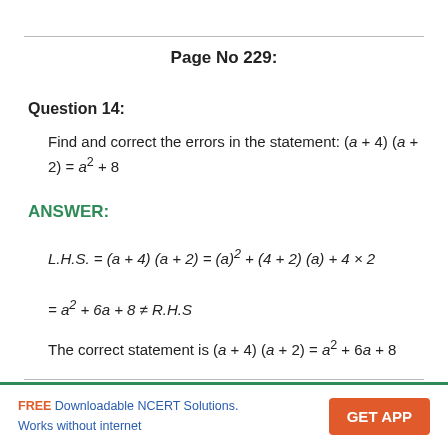Page No 229:
Question 14:
Find and correct the errors in the statement: (a + 4) (a + 2) = a² + 8
ANSWER:
The correct statement is (a + 4) (a + 2) = a² + 6a + 8
FREE Downloadable NCERT Solutions. Works without internet  GET APP